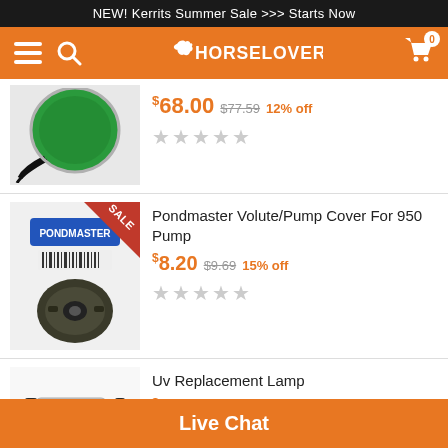NEW! Kerrits Summer Sale >>> Starts Now
[Figure (screenshot): HorseLoverZ navigation bar with menu, search, logo, and cart icons on orange background]
[Figure (photo): Green circular pump/heater product with black cord]
$68.00 $77.59 12% off
[Figure (photo): Pondmaster Volute/Pump Cover For 950 Pump product in packaging with SALE badge]
Pondmaster Volute/Pump Cover For 950 Pump
$8.20 $9.69 15% off
[Figure (photo): UV Replacement Lamp - two cylindrical metal lamp tubes]
Uv Replacement Lamp
$9465 $124.49 24% off
Live Chat